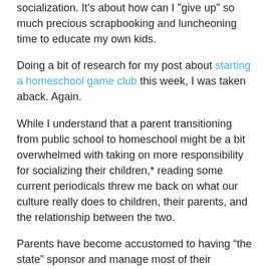socialization. It's about how can I 'give up' so much precious scrapbooking and luncheoning time to educate my own kids.
Doing a bit of research for my post about starting a homeschool game club this week, I was taken aback. Again.
While I understand that a parent transitioning from public school to homeschool might be a bit overwhelmed with taking on more responsibility for socializing their children,* reading some current periodicals threw me back on what our culture really does to children, their parents, and the relationship between the two.
Parents have become accustomed to having “the state” sponsor and manage most of their children’s waking hours and even the thought of spending all summer long with their own children is enough (apparently) to put many parents over the edge. The